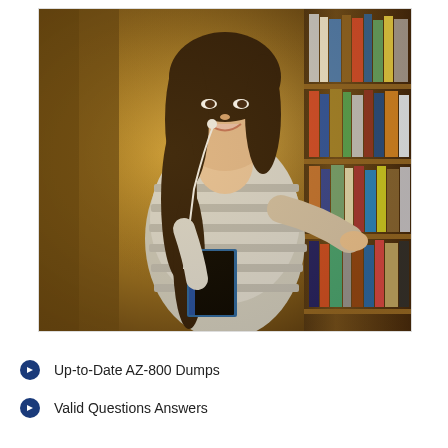[Figure (photo): Young woman with earphones holding a blue book, standing between library shelves filled with books, smiling at the camera.]
Up-to-Date AZ-800 Dumps
Valid Questions Answers